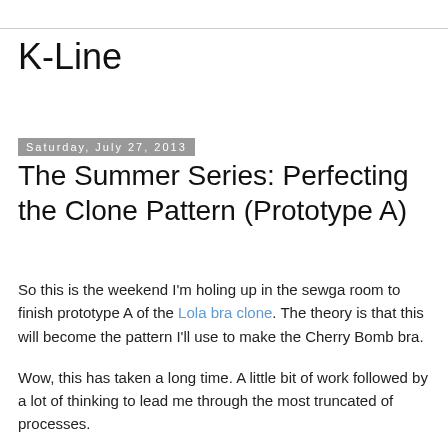K-Line
Saturday, July 27, 2013
The Summer Series: Perfecting the Clone Pattern (Prototype A)
So this is the weekend I'm holing up in the sewga room to finish prototype A of the Lola bra clone. The theory is that this will become the pattern I'll use to make the Cherry Bomb bra.
Wow, this has taken a long time. A little bit of work followed by a lot of thinking to lead me through the most truncated of processes.
At this point, prototype A should be done in a short time. I've got to add the upper elastic, straps and closures. In the process of making it, I've revised the pattern (one paper